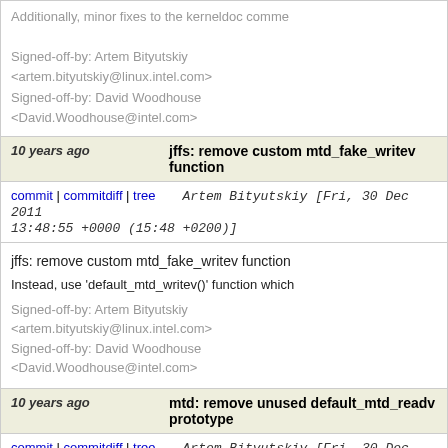Additionally, minor fixes to the kerneldoc comments

Signed-off-by: Artem Bityutskiy <artem.bityutskiy@linux.intel.com>
Signed-off-by: David Woodhouse <David.Woodhouse@intel.com>
10 years ago  jffs: remove custom mtd_fake_writev function
commit | commitdiff | tree  Artem Bityutskiy [Fri, 30 Dec 2011 13:48:55 +0000 (15:48 +0200)]
jffs: remove custom mtd_fake_writev function

Instead, use 'default_mtd_writev()' function which

Signed-off-by: Artem Bityutskiy <artem.bityutskiy@linux.intel.com>
Signed-off-by: David Woodhouse <David.Woodhouse@intel.com>
10 years ago  mtd: remove unused default_mtd_readv prototype
commit | commitdiff | tree  Artem Bityutskiy [Fri, 30 Dec 2011 13:46:40 +0000 (15:46 +0200)]
mtd: remove unused default_mtd_readv prototype

Signed-off-by: Artem Bityutskiy